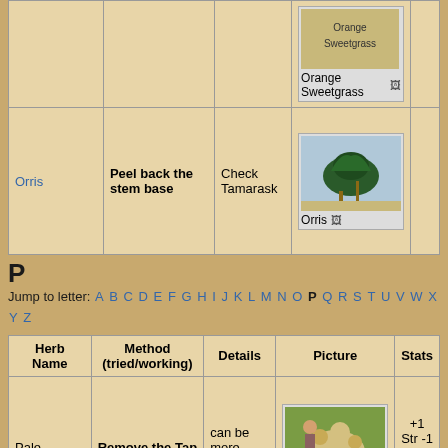|  |  |  | Orange
Sweetgrass |
| Orris | Peel back the stem base | Check Tamarask | [Orris image] Orris |
P
Jump to letter: A B C D E F G H I J K L M N O P Q R S T U V W X Y Z
| Herb Name | Method (tried/working) | Details | Picture | Stats |
| --- | --- | --- | --- | --- |
| Pale Dhamasa | Remove the Tap Root | can be more white in the night | [Pale Dhamasa image] | +1 Str -1 dex [checkbox 6] |
|  |  | Edged | [image] | -1 |